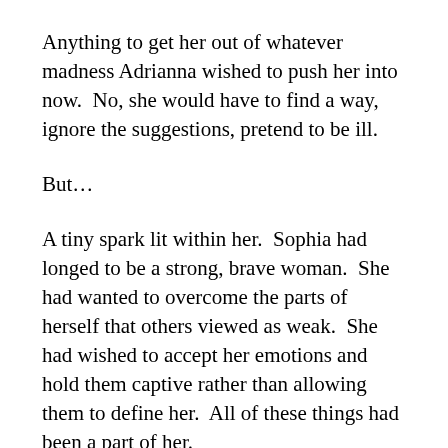Anything to get her out of whatever madness Adrianna wished to push her into now.  No, she would have to find a way, ignore the suggestions, pretend to be ill.
But...
A tiny spark lit within her.  Sophia had longed to be a strong, brave woman.  She had wanted to overcome the parts of herself that others viewed as weak.  She had wished to accept her emotions and hold them captive rather than allowing them to define her.  All of these things had been a part of her.
All of these things had been desires that she